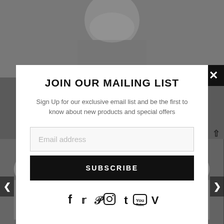[Figure (photo): Background: fashion/lingerie model photo, darkened, with modal overlay and thumbnail strip at bottom]
JOIN OUR MAILING LIST
Sign Up for our exclusive email list and be the first to know about new products and special offers
Email address
SUBSCRIBE
[Figure (infographic): Social media icons: Facebook, Twitter, Pinterest, Instagram, Tumblr, YouTube, Vimeo]